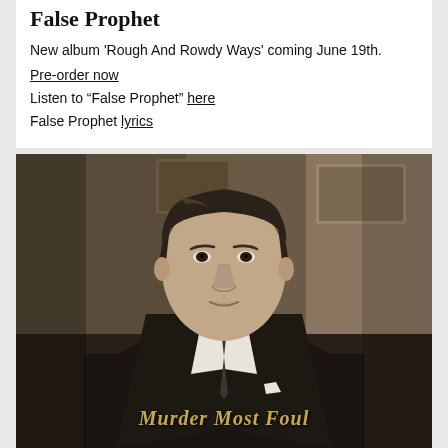False Prophet
New album 'Rough And Rowdy Ways' coming June 19th.
Pre-order now
Listen to "False Prophet" here
False Prophet lyrics
[Figure (photo): Black and white portrait photograph of a man in a dark suit with a tie, seated and looking at the camera. Text overlaid at bottom reads 'Murder Most Foul' in gothic/blackletter gold font.]